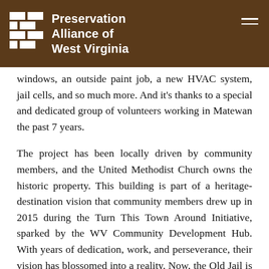Preservation Alliance of West Virginia
windows, an outside paint job, a new HVAC system, jail cells, and so much more. And it's thanks to a special and dedicated group of volunteers working in Matewan the past 7 years.
The project has been locally driven by community members, and the United Methodist Church owns the historic property. This building is part of a heritage-destination vision that community members drew up in 2015 during the Turn This Town Around Initiative, sparked by the WV Community Development Hub. With years of dedication, work, and perseverance, their vision has blossomed into a reality. Now, the Old Jail is a wonderful addition to Matewan's many heritage stops and attractions.